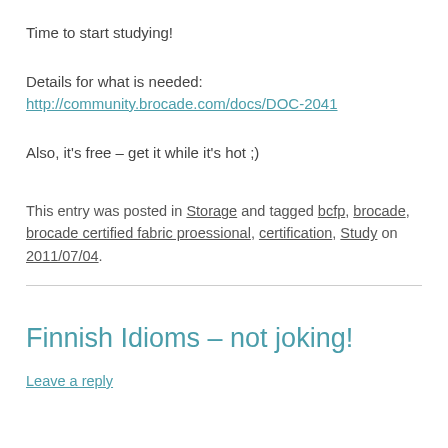Time to start studying!
Details for what is needed: http://community.brocade.com/docs/DOC-2041
Also, it’s free – get it while it’s hot ;)
This entry was posted in Storage and tagged bcfp, brocade, brocade certified fabric proessional, certification, Study on 2011/07/04.
Finnish Idioms – not joking!
Leave a reply